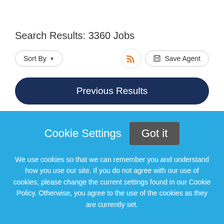Search Results: 3360 Jobs
Sort By ▼
Save Agent
Previous Results
[Figure (logo): Tenet company logo — teal/green and orange circular swoosh icon with dark blue text 'Tenet' partially visible]
Cookie Settings
Got it
We use cookies so that we can remember you and understand how you use our site. If you do not agree with our use of cookies, please change the current settings found in our Cookie Policy. Otherwise, you agree to the use of the cookies as they are currently set.